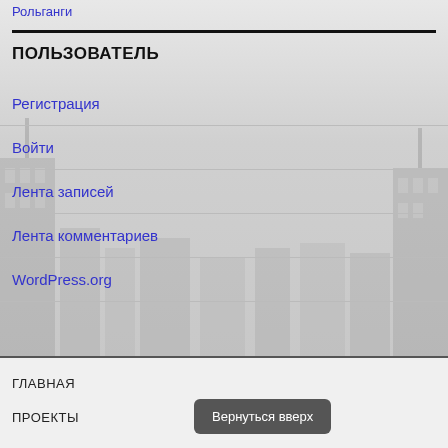Рольганги
ПОЛЬЗОВАТЕЛЬ
Регистрация
Войти
Лента записей
Лента комментариев
WordPress.org
ГЛАВНАЯ
ПРОЕКТЫ
Вернуться вверх